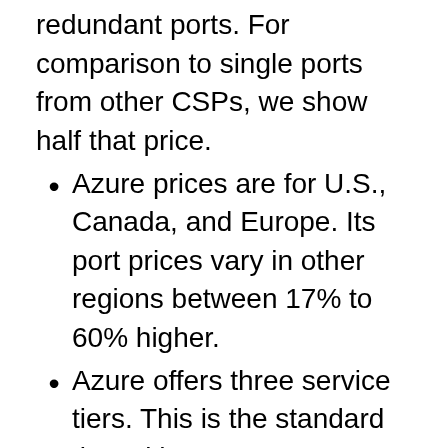redundant ports. For comparison to single ports from other CSPs, we show half that price.
Azure prices are for U.S., Canada, and Europe. Its port prices vary in other regions between 17% to 60% higher.
Azure offers three service tiers. This is the standard tier, with access to on-ramps in the same geopolitical region. A local tier limits access to only one metro but forgives egress fees. A premium tier affords access to all regions for an extra fee.
Price differences reflect the CSP...